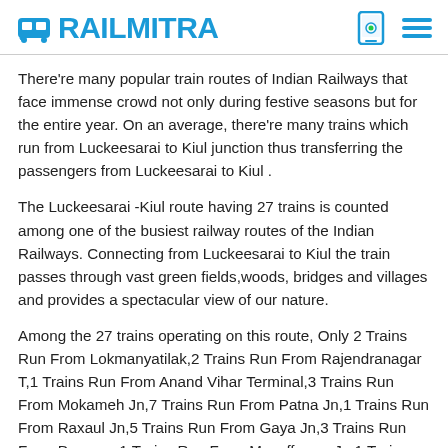RAILMITRA
There're many popular train routes of Indian Railways that face immense crowd not only during festive seasons but for the entire year. On an average, there're many trains which run from Luckeesarai to Kiul junction thus transferring the passengers from Luckeesarai to Kiul .
The Luckeesarai -Kiul route having 27 trains is counted among one of the busiest railway routes of the Indian Railways. Connecting from Luckeesarai to Kiul the train passes through vast green fields,woods, bridges and villages and provides a spectacular view of our nature.
Among the 27 trains operating on this route, Only 2 Trains Run From Lokmanyatilak,2 Trains Run From Rajendranagar T,1 Trains Run From Anand Vihar Terminal,3 Trains Run From Mokameh Jn,7 Trains Run From Patna Jn,1 Trains Run From Raxaul Jn,5 Trains Run From Gaya Jn,3 Trains Run From Danapur,1 Trains Run From Muzaffarpur Jn,1 Trains Run From Gorakhpur,1 Trains Run From Jaynagar to Kiul